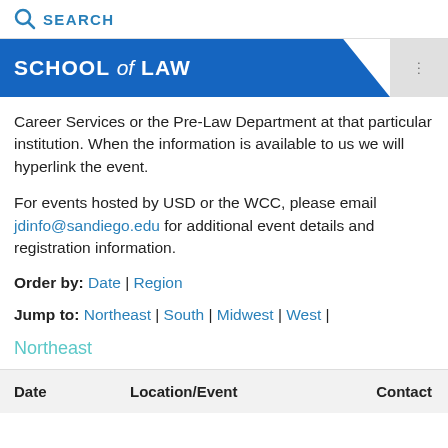SEARCH
SCHOOL of LAW
Career Services or the Pre-Law Department at that particular institution. When the information is available to us we will hyperlink the event.
For events hosted by USD or the WCC, please email jdinfo@sandiego.edu for additional event details and registration information.
Order by: Date | Region
Jump to: Northeast | South | Midwest | West |
Northeast
| Date | Location/Event | Contact |
| --- | --- | --- |